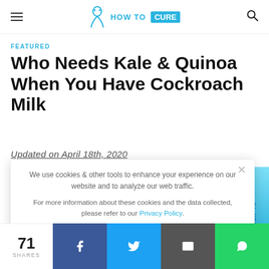HOW TO CURE
FEATURED
Who Needs Kale & Quinoa When You Have Cockroach Milk
Updated on April 18th, 2020
We use cookies & other tools to enhance your experience on our website and to analyze our web traffic.

For more information about these cookies and the data collected, please refer to our Privacy Policy.
I ACCEPT USE OF COOKIES
71 SHARES